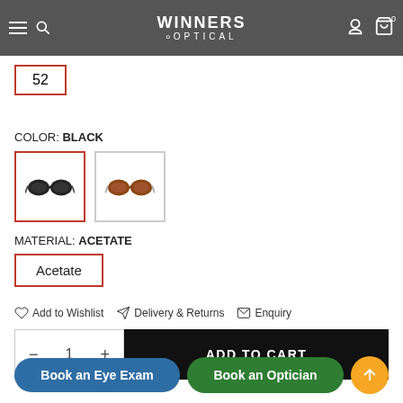WINNERS OPTICAL — SIZE: 52
52
COLOR: BLACK
[Figure (photo): Two color swatch options for sunglasses: black pair (selected, red border) and brown/tortoise pair]
MATERIAL: ACETATE
Acetate
Add to Wishlist   Delivery & Returns   Enquiry
− 1 +   ADD TO CART
Book an Eye Exam
Book an Optician